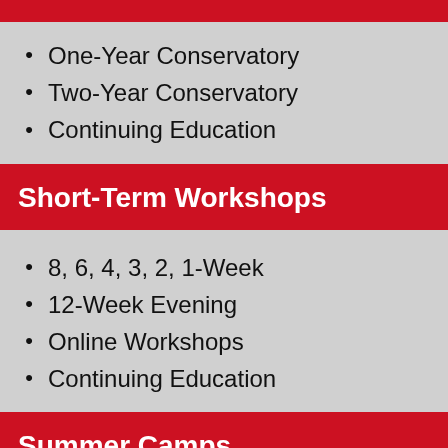One-Year Conservatory
Two-Year Conservatory
Continuing Education
Short-Term Workshops
8, 6, 4, 3, 2, 1-Week
12-Week Evening
Online Workshops
Continuing Education
Summer Camps
Camps for Teens
Camps for Kids